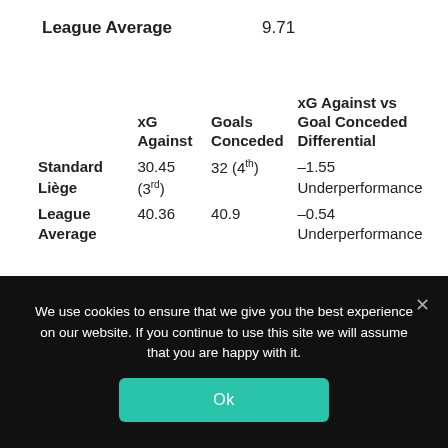League Average   9.71
|  | xG Against | Goals Conceded | xG Against vs Goal Conceded Differential |
| --- | --- | --- | --- |
| Standard Liège | 30.45 (3rd) | 32 (4th) | –1.55 Underperformance |
| League Average | 40.36 | 40.9 | –0.54 Underperformance |
We use cookies to ensure that we give you the best experience on our website. If you continue to use this site we will assume that you are happy with it.